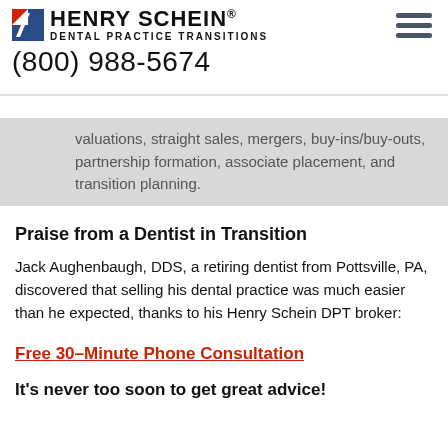[Figure (logo): Henry Schein Dental Practice Transitions logo with red/blue square icon and company name]
(800) 988-5674
valuations, straight sales, mergers, buy-ins/buy-outs, partnership formation, associate placement, and transition planning.
Praise from a Dentist in Transition
Jack Aughenbaugh, DDS, a retiring dentist from Pottsville, PA, discovered that selling his dental practice was much easier than he expected, thanks to his Henry Schein DPT broker:
Free 30-Minute Phone Consultation
It's never too soon to get great advice!